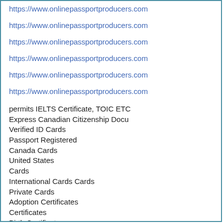https://www.onlinepassportproducers.com
https://www.onlinepassportproducers.com
https://www.onlinepassportproducers.com
https://www.onlinepassportproducers.com
https://www.onlinepassportproducers.com
https://www.onlinepassportproducers.com
permits IELTS Certificate, TOIC ETC
Express Canadian Citizenship Docu
Verified ID Cards
Passport Registered
Canada Cards
United States
Cards
International Cards Cards
Private Cards
Adoption Certificates
Certificates
Birth Certificates
Death Certificates
Divorce Certificates